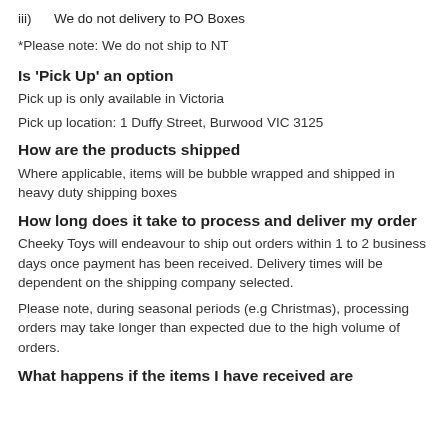iii)   We do not delivery to PO Boxes
*Please note: We do not ship to NT
Is 'Pick Up' an option
Pick up is only available in Victoria
Pick up location: 1 Duffy Street, Burwood VIC 3125
How are the products shipped
Where applicable, items will be bubble wrapped and shipped in heavy duty shipping boxes
How long does it take to process and deliver my order
Cheeky Toys will endeavour to ship out orders within 1 to 2 business days once payment has been received. Delivery times will be dependent on the shipping company selected.
Please note, during seasonal periods (e.g Christmas), processing orders may take longer than expected due to the high volume of orders.
What happens if the items I have received are